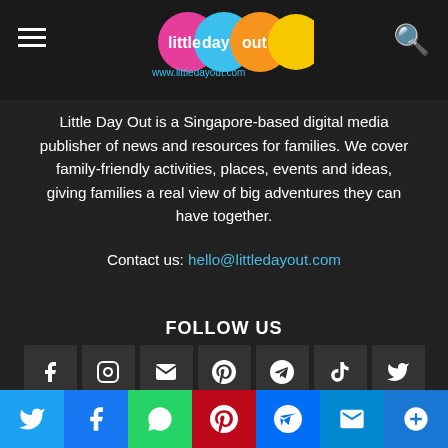little day out - www.littledayout.com
Little Day Out is a Singapore-based digital media publisher of news and resources for families. We cover family-friendly activities, places, events and ideas, giving families a real view of big adventures they can have together.
Contact us: hello@littledayout.com
FOLLOW US
[Figure (other): Social media icon buttons: Facebook, Instagram, Email, Pinterest, Telegram, TikTok, Twitter, YouTube]
[Figure (other): Bottom share bar with Twitter, Facebook, WhatsApp, Pinterest, Messenger, Email, and More buttons]